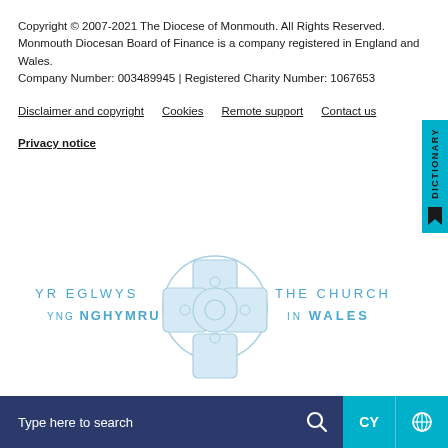Copyright © 2007-2021 The Diocese of Monmouth. All Rights Reserved.
Monmouth Diocesan Board of Finance is a company registered in England and Wales.
Company Number: 003489945 | Registered Charity Number: 1067653
Disclaimer and copyright   Cookies   Remote support   Contact us
Privacy notice
[Figure (logo): Church in Wales / Yr Eglwys yng Nghymru logo with Celtic cross]
Type here to search   CY